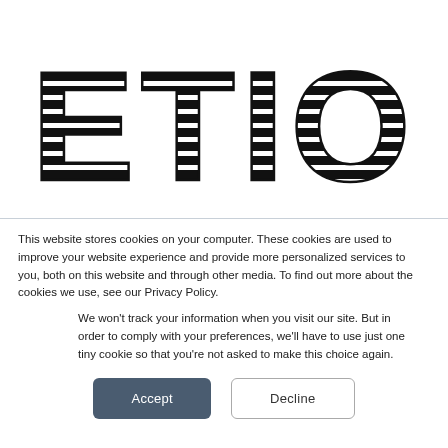[Figure (logo): AETION logo in large geometric bold hollow letters with horizontal stripe pattern]
This website stores cookies on your computer. These cookies are used to improve your website experience and provide more personalized services to you, both on this website and through other media. To find out more about the cookies we use, see our Privacy Policy.
We won't track your information when you visit our site. But in order to comply with your preferences, we'll have to use just one tiny cookie so that you're not asked to make this choice again.
Accept
Decline